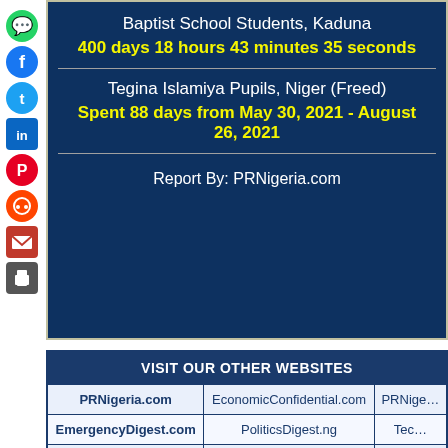Baptist School Students, Kaduna
400 days 18 hours 43 minutes 35 seconds
Tegina Islamiya Pupils, Niger (Freed)
Spent 88 days from May 30, 2021 - August 26, 2021
Report By: PRNigeria.com
| VISIT OUR OTHER WEBSITES |  |  |
| --- | --- | --- |
| PRNigeria.com | EconomicConfidential.com | PRNige... |
| EmergencyDigest.com | PoliticsDigest.ng | Tec... |
| HealthDigest.ng | SpokePersondigest.com | Te... |